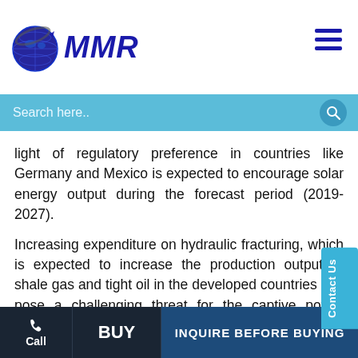[Figure (logo): MMR globe logo with blue globe and arrow, text MMR in bold blue]
Search here..
light of regulatory preference in countries like Germany and Mexico is expected to encourage solar energy output during the forecast period (2019-2027).
Increasing expenditure on hydraulic fracturing, which is expected to increase the production output of shale gas and tight oil in the developed countries can pose a challenging threat for the captive power generation market. On the other hand, the shortage of coal can adversely affect the operation and expose the production of various end-products like steel, cement, aluminum, and fertilizers, which is expected to limit the growth in the global captive power
Call | BUY | INQUIRE BEFORE BUYING